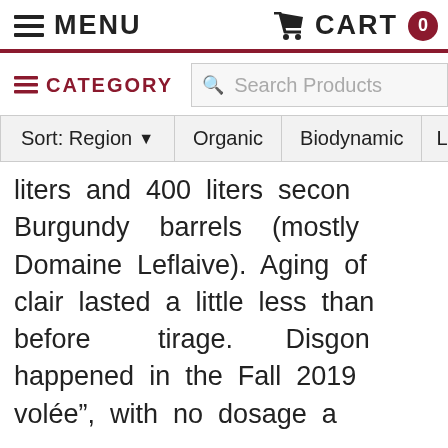MENU   CART 0
CATEGORY   Search Products
Sort: Region ▾   Organic   Biodynamic   L
liters and 400 liters secon Burgundy barrels (mostly Domaine Leflaive). Aging of clair lasted a little less than before tirage. Disgor happened in the Fall 2019 volée", with no dosage a With a white gold and sli